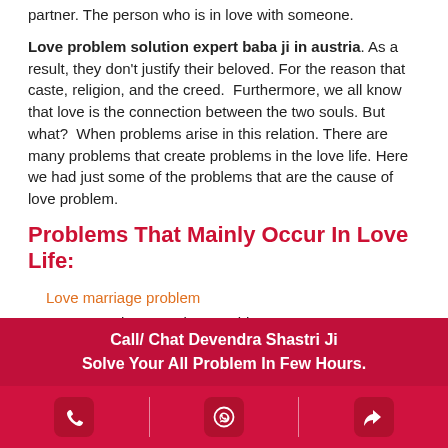partner. The person who is in love with someone.
Love problem solution expert baba ji in austria. As a result, they don't justify their beloved. For the reason that caste, religion, and the creed.  Furthermore, we all know that love is the connection between the two souls. But what?  When problems arise in this relation. There are many problems that create problems in the love life. Here we had just some of the problems that are the cause of love problem.
Problems That Mainly Occur In Love Life:
Love marriage problem
Inter-caste love marriage problem
Get lost love back in life
Call/ Chat Devendra Shastri Ji
Solve Your All Problem In Few Hours.